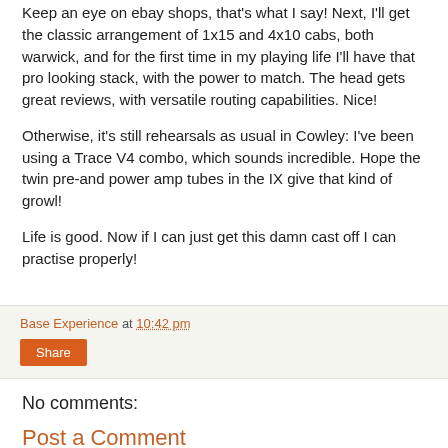Keep an eye on ebay shops, that's what I say! Next, I'll get the classic arrangement of 1x15 and 4x10 cabs, both warwick, and for the first time in my playing life I'll have that pro looking stack, with the power to match. The head gets great reviews, with versatile routing capabilities. Nice!
Otherwise, it's still rehearsals as usual in Cowley: I've been using a Trace V4 combo, which sounds incredible. Hope the twin pre-and power amp tubes in the IX give that kind of growl!
Life is good. Now if I can just get this damn cast off I can practise properly!
Base Experience at 10:42 pm
Share
No comments:
Post a Comment